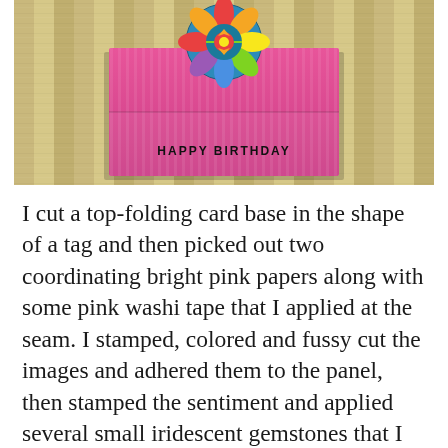[Figure (photo): A pink birthday card with a colorful mandala/butterfly decoration on top and 'HAPPY BIRTHDAY' text, placed on a wooden surface]
I cut a top-folding card base in the shape of a tag and then picked out two coordinating bright pink papers along with some pink washi tape that I applied at the seam. I stamped, colored and fussy cut the images and adhered them to the panel, then stamped the sentiment and applied several small iridescent gemstones that I colored with a pink alcohol marker. I created hole reinforcements from white cardstock with two circle punches. I punched a hole through both layers of the card base and adhered reinforcements on the front